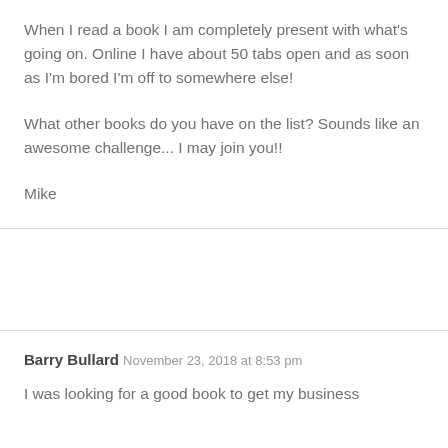When I read a book I am completely present with what's going on. Online I have about 50 tabs open and as soon as I'm bored I'm off to somewhere else!
What other books do you have on the list? Sounds like an awesome challenge... I may join you!!
Mike
Barry Bullard
November 23, 2018 at 8:53 pm
I was looking for a good book to get my business